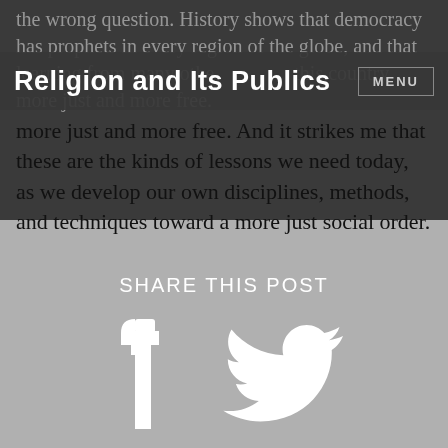Religion and Its Publics | MENU
the wrong question. History shows that democracy has prophets in every region of the globe, and that learning from many other countries this country more just and more free. And it strikes me that these are the kinds of lessons we need today, as we develop our own disciplines, methods, and techniques toward a more just social order.
SHARE THIS POST
[Figure (illustration): Facebook and Twitter social share icons in white on gray background]